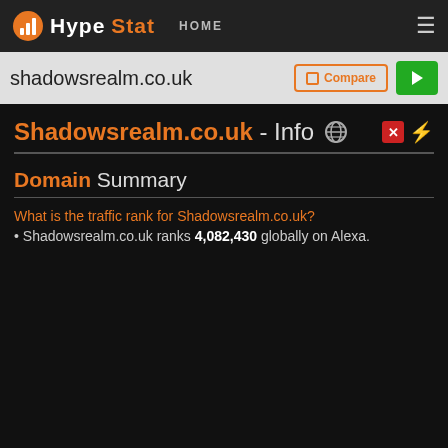HypeStat HOME
shadowsrealm.co.uk
Shadowsrealm.co.uk - Info
Domain Summary
What is the traffic rank for Shadowsrealm.co.uk?
Shadowsrealm.co.uk ranks 4,082,430 globally on Alexa.